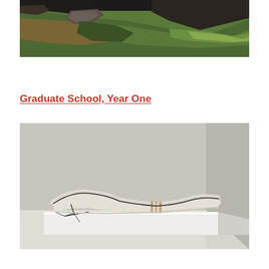[Figure (photo): Aerial or wide-angle photo of a rocky hillside with green grassy slopes, rocky outcroppings, and brown dried vegetation.]
Graduate School, Year One
[Figure (photo): A curved lounge chair or chaise longue made of light cream/beige material with thin metal wire legs, displayed on a white platform in a gallery setting with grey walls.]